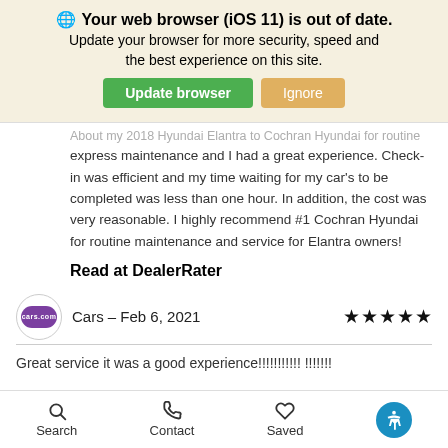🌐 Your web browser (iOS 11) is out of date. Update your browser for more security, speed and the best experience on this site.
express maintenance and I had a great experience. Check-in was efficient and my time waiting for my car's to be completed was less than one hour. In addition, the cost was very reasonable. I highly recommend #1 Cochran Hyundai for routine maintenance and service for Elantra owners!
Read at DealerRater
Cars – Feb 6, 2021 ★★★★★
Great service it was a good experience!!!!!!!!!!! !!!!!!!
Search   Contact   Saved   [accessibility]